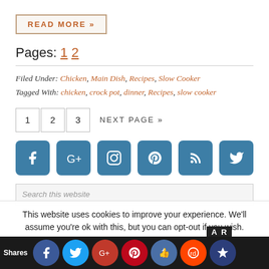READ MORE »
Pages: 1 2
Filed Under: Chicken, Main Dish, Recipes, Slow Cooker
Tagged With: chicken, crock pot, dinner, Recipes, slow cooker
1   2   3   NEXT PAGE »
[Figure (infographic): Social media icons row: Facebook, Google+, Instagram, Pinterest, RSS, Twitter]
Search this website
This website uses cookies to improve your experience. We'll assume you're ok with this, but you can opt-out if you wish.
[Figure (infographic): Shares bar with social sharing icons: Facebook, Twitter, Google+, Pinterest, Like, Reddit, Sumo]